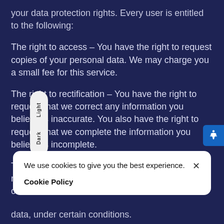your data protection rights. Every user is entitled to the following:
The right to access – You have the right to request copies of your personal data. We may charge you a small fee for this service.
The right to rectification – You have the right to request that we correct any information you believe is inaccurate. You also have the right to request that we complete the information you believe is incomplete.
The right to erasure – You have the right to request that we erase your personal data, under certain conditions.
We use cookies to give you the best experience. Cookie Policy
data, under certain conditions.